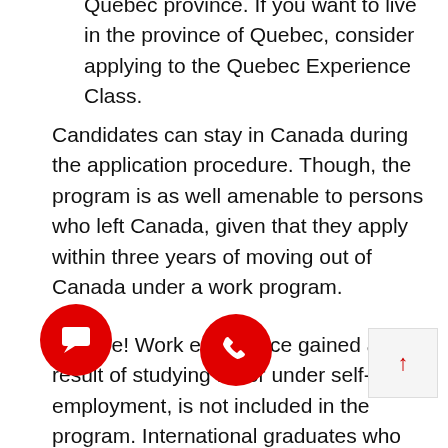Quebec province. If you want to live in the province of Quebec, consider applying to the Quebec Experience Class.
Candidates can stay in Canada during the application procedure. Though, the program is as well amenable to persons who left Canada, given that they apply within three years of moving out of Canada under a work program.
Beware! Work experience gained as a result of studying for or under self-employment, is not included in the program. International graduates who